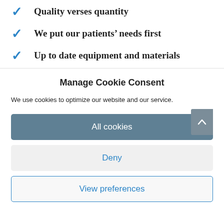✓ Quality verses quantity
✓ We put our patients' needs first
✓ Up to date equipment and materials
Manage Cookie Consent
We use cookies to optimize our website and our service.
All cookies
Deny
View preferences